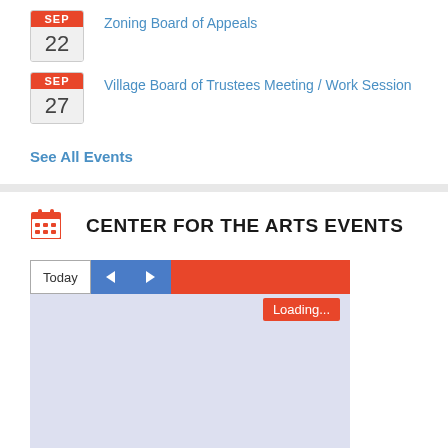SEP 22 – Zoning Board of Appeals
SEP 27 – Village Board of Trustees Meeting / Work Session
See All Events
CENTER FOR THE ARTS EVENTS
[Figure (screenshot): Calendar widget with Today/navigation toolbar in blue and red, and a loading state shown with 'Loading...' badge on a light blue calendar body]